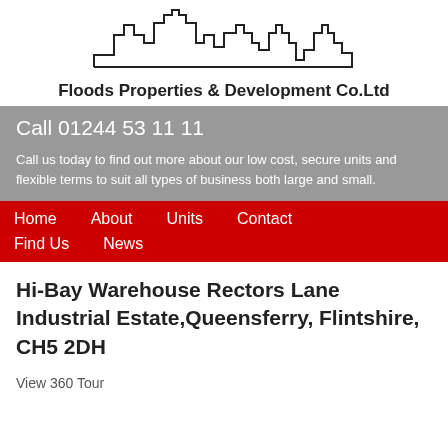[Figure (logo): City skyline outline logo for Floods Properties & Development Co.Ltd]
Floods Properties & Development Co.Ltd
Call 01244 53 11 11
Call us today to find out more about our low cost, secure units and flexible terms to suit all types of business both large and small.
Home
About
Units
Contact
Find Us
News
Hi-Bay Warehouse Rectors Lane Industrial Estate,Queensferry, Flintshire, CH5 2DH
View 360 Tour